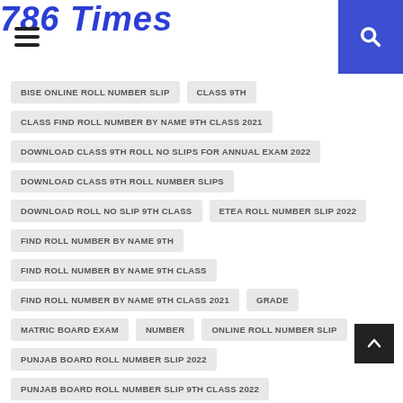786 Times
BISE ONLINE ROLL NUMBER SLIP
CLASS 9TH
CLASS FIND ROLL NUMBER BY NAME 9TH CLASS 2021
DOWNLOAD CLASS 9TH ROLL NO SLIPS FOR ANNUAL EXAM 2022
DOWNLOAD CLASS 9TH ROLL NUMBER SLIPS
DOWNLOAD ROLL NO SLIP 9TH CLASS
ETEA ROLL NUMBER SLIP 2022
FIND ROLL NUMBER BY NAME 9TH
FIND ROLL NUMBER BY NAME 9TH CLASS
FIND ROLL NUMBER BY NAME 9TH CLASS 2021
GRADE
MATRIC BOARD EXAM
NUMBER
ONLINE ROLL NUMBER SLIP
PUNJAB BOARD ROLL NUMBER SLIP 2022
PUNJAB BOARD ROLL NUMBER SLIP 9TH CLASS 2022
ROLL NO SEARCH 9TH CLASS
ROLL NO SLIP 9TH CLASS 2021
ROLL NO. SLIPS
ROLL NUMBER SHEET
ROLL NUMBER SLIP 10TH CLASS 2022
ROLL NUMBER SLIP 2021